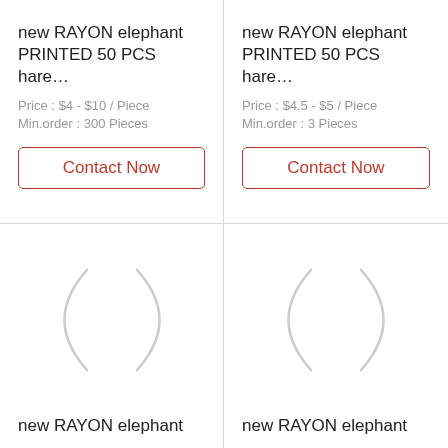new RAYON elephant PRINTED 50 PCS hare…
Price : $4 - $10 / Piece
Min.order : 300 Pieces
Contact Now
new RAYON elephant PRINTED 50 PCS hare…
Price : $4.5 - $5 / Piece
Min.order : 3 Pieces
Contact Now
[Figure (other): Loading spinner circle graphic]
new RAYON elephant
[Figure (other): Loading spinner circle graphic]
new RAYON elephant